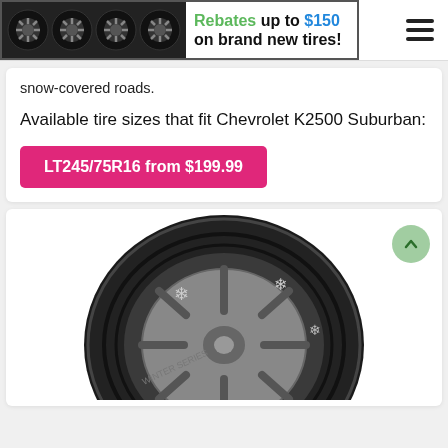[Figure (infographic): Advertisement banner showing four black tires on left, text 'Rebates up to $150 on brand new tires!' in center, hamburger menu icon on right]
snow-covered roads.
Available tire sizes that fit Chevrolet K2500 Suburban:
LT245/75R16 from $199.99
[Figure (photo): Close-up photo of a winter/snow tire with snowflake symbols on the sidewall, mounted on a gray multi-spoke alloy wheel, on a white background]